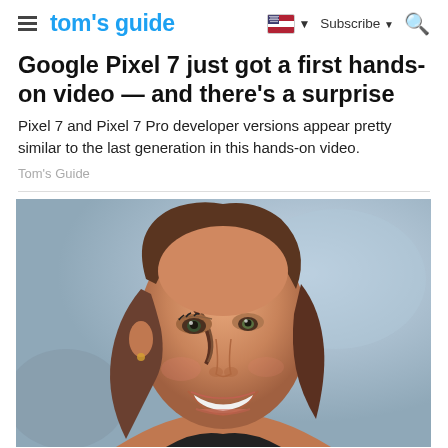tom's guide | Subscribe
Google Pixel 7 just got a first hands-on video — and there's a surprise
Pixel 7 and Pixel 7 Pro developer versions appear pretty similar to the last generation in this hands-on video.
Tom's Guide
[Figure (photo): Close-up portrait of a smiling woman with brown hair, laughing with eyes squinting, blurred light background.]